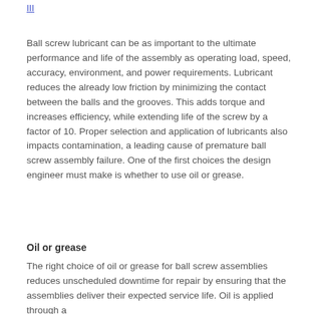III
Ball screw lubricant can be as important to the ultimate performance and life of the assembly as operating load, speed, accuracy, environment, and power requirements. Lubricant reduces the already low friction by minimizing the contact between the balls and the grooves. This adds torque and increases efficiency, while extending life of the screw by a factor of 10. Proper selection and application of lubricants also impacts contamination, a leading cause of premature ball screw assembly failure. One of the first choices the design engineer must make is whether to use oil or grease.
Oil or grease
The right choice of oil or grease for ball screw assemblies reduces unscheduled downtime for repair by ensuring that the assemblies deliver their expected service life. Oil is applied through a